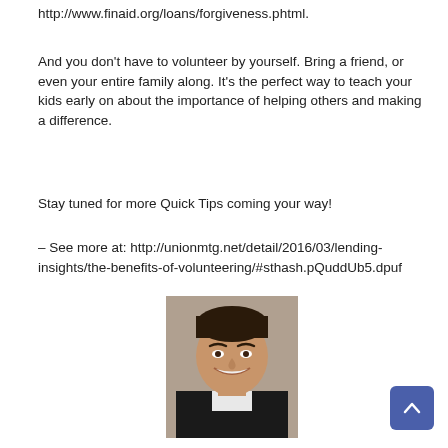http://www.finaid.org/loans/forgiveness.phtml.
And you don't have to volunteer by yourself. Bring a friend, or even your entire family along. It's the perfect way to teach your kids early on about the importance of helping others and making a difference.
Stay tuned for more Quick Tips coming your way!
– See more at: http://unionmtg.net/detail/2016/03/lending-insights/the-benefits-of-volunteering/#sthash.pQuddUb5.dpuf
[Figure (photo): Headshot photo of a smiling man with short dark hair wearing a dark suit]